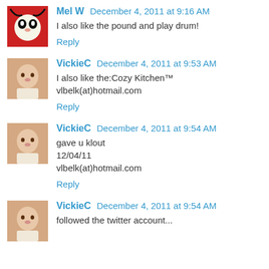Mel W  December 4, 2011 at 9:16 AM
I also like the pound and play drum!
Reply
VickieC  December 4, 2011 at 9:53 AM
I also like the:Cozy Kitchen™
vlbelk(at)hotmail.com
Reply
VickieC  December 4, 2011 at 9:54 AM
gave u klout
12/04/11
vlbelk(at)hotmail.com
Reply
VickieC  December 4, 2011 at 9:54 AM
followed the twitter account...